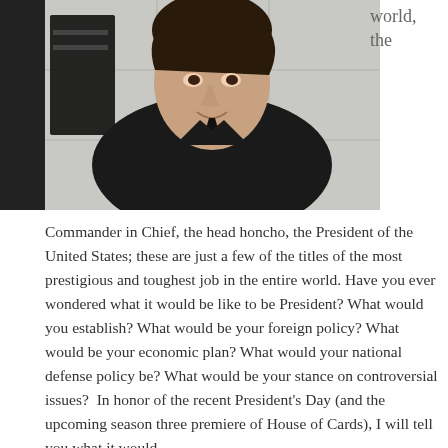[Figure (photo): Portrait photo of a teenage boy wearing a black suit and tie, smiling slightly, with a dark background. Partial white tiled wall visible behind him.]
world, the
Commander in Chief, the head honcho, the President of the United States; these are just a few of the titles of the most prestigious and toughest job in the entire world. Have you ever wondered what it would be like to be President? What would you establish? What would be your foreign policy? What would be your economic plan? What would your national defense policy be? What would be your stance on controversial issues?  In honor of the recent President's Day (and the upcoming season three premiere of House of Cards), I will tell you what it would